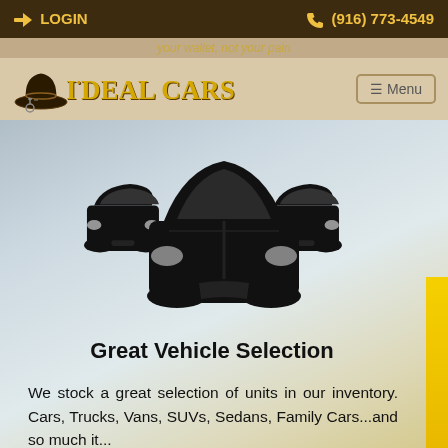LOGIN   (916) 773-4549
your wallet, not your pain
[Figure (logo): I-Deal Cars logo with cowboy hat icon and stylized gold text reading I·DEAL CARS]
☰ Menu
[Figure (illustration): Three black silhouette car icons viewed from the front — a large center car flanked by two smaller cars on either side]
Great Vehicle Selection
We stock a great selection of units in our inventory. Cars, Trucks, Vans, SUVs, Sedans, Family Cars...and so much it...